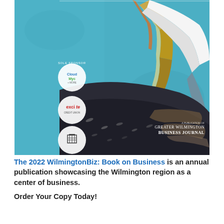[Figure (illustration): Close-up painting of a brown pelican against a teal/turquoise background. The pelican features a long beak, dark body feathers with white and tan markings, and colorful wing details. On the left side are sponsor logos including CloudMyc and excite Credit Union and one other logo. Text at the bottom reads 'A PUBLICATION OF GREATER WILMINGTON BUSINESS JOURNAL'.]
The 2022 WilmingtonBiz: Book on Business is an annual publication showcasing the Wilmington region as a center of business.
Order Your Copy Today!